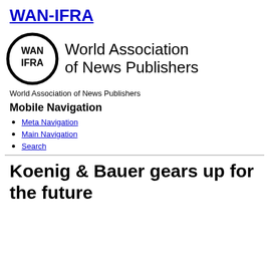WAN-IFRA
[Figure (logo): WAN-IFRA logo: circular black ring with 'WAN IFRA' text inside, followed by 'World Association of News Publishers' in large text]
World Association of News Publishers
Mobile Navigation
Meta Navigation
Main Navigation
Search
Koenig & Bauer gears up for the future